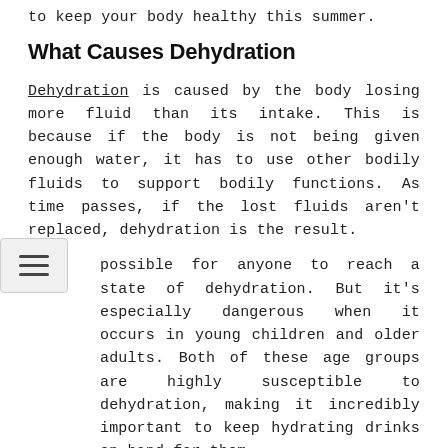to keep your body healthy this summer.
What Causes Dehydration
Dehydration is caused by the body losing more fluid than its intake. This is because if the body is not being given enough water, it has to use other bodily fluids to support bodily functions. As time passes, if the lost fluids aren't replaced, dehydration is the result.
possible for anyone to reach a state of dehydration. But it's especially dangerous when it occurs in young children and older adults. Both of these age groups are highly susceptible to dehydration, making it incredibly important to keep hydrating drinks on-hand for them.
Young children typically become dehydrated as a result of severe diarrhea and vomiting while the elderly naturally lack water volume in their bodies. Older people also could have conditions or be taking medications that promote